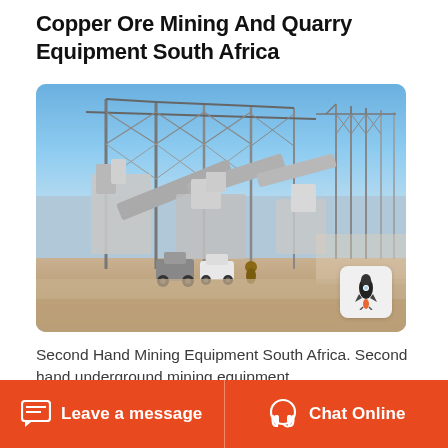Copper Ore Mining And Quarry Equipment South Africa
[Figure (photo): Large industrial mining and quarry facility with steel frame structures and conveyor systems under a blue sky, vehicles visible in the foreground on sandy ground]
Second Hand Mining Equipment South Africa. Second hand underground mining equipment
Leave a message  Chat Online